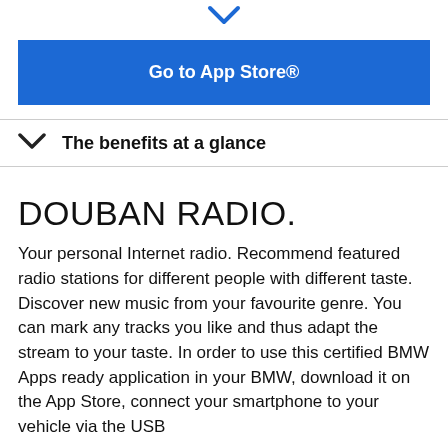[Figure (other): Downward pointing chevron/arrow icon in blue]
Go to App Store®
The benefits at a glance
DOUBAN RADIO.
Your personal Internet radio. Recommend featured radio stations for different people with different taste. Discover new music from your favourite genre. You can mark any tracks you like and thus adapt the stream to your taste. In order to use this certified BMW Apps ready application in your BMW, download it on the App Store, connect your smartphone to your vehicle via the USB